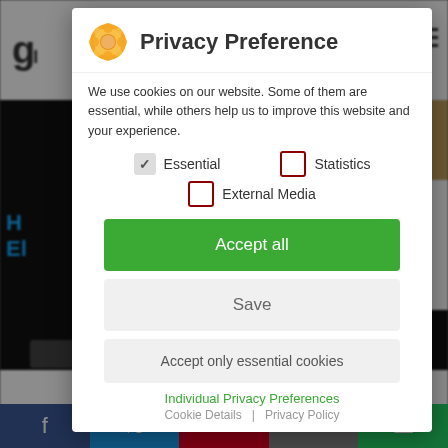[Figure (screenshot): Background website page partially visible behind privacy modal overlay]
Privacy Preference
We use cookies on our website. Some of them are essential, while others help us to improve this website and your experience.
Essential (checked)
Statistics (unchecked)
External Media (unchecked)
Accept all
Save
Accept only essential cookies
Individual Privacy Preferences
Cookie Details | Privacy Policy